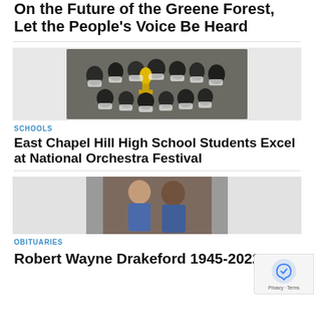On the Future of the Greene Forest, Let the People's Voice Be Heard
[Figure (photo): Group photo of masked students in dark shirts holding a large trophy at National Orchestra Festival]
SCHOOLS
East Chapel Hill High School Students Excel at National Orchestra Festival
[Figure (photo): Photo of a white woman in blue top and a Black man in blue shirt standing together indoors, flanked by gray placeholder panels on either side]
OBITUARIES
Robert Wayne Drakeford 1945-2022